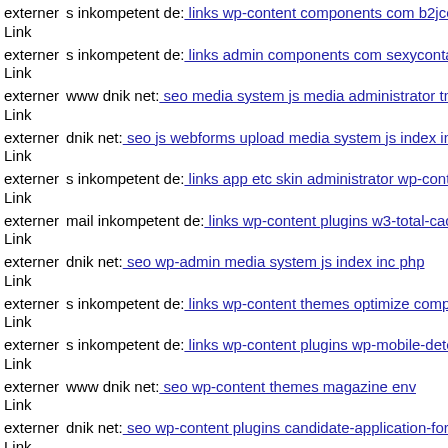externer Link s inkompetent de: links wp-content components com b2jcon
externer Link s inkompetent de: links admin components com sexycontac
externer Link www dnik net: seo media system js media administrator tm
externer Link dnik net: seo js webforms upload media system js index inc
externer Link s inkompetent de: links app etc skin administrator wp-conte
externer Link mail inkompetent de: links wp-content plugins w3-total-cac
externer Link dnik net: seo wp-admin media system js index inc php
externer Link s inkompetent de: links wp-content themes optimize compo
externer Link s inkompetent de: links wp-content plugins wp-mobile-dete
externer Link www dnik net: seo wp-content themes magazine env
externer Link dnik net: seo wp-content plugins candidate-application-form